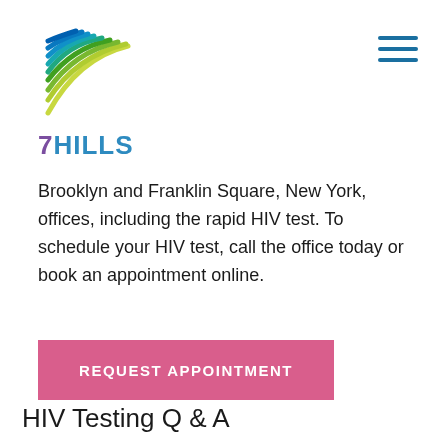[Figure (logo): 7HILLS logo with colorful wave/stripe graphic above the text '7HILLS']
[Figure (other): Hamburger menu icon (three horizontal blue lines) in top right corner]
Brooklyn and Franklin Square, New York, offices, including the rapid HIV test. To schedule your HIV test, call the office today or book an appointment online.
REQUEST APPOINTMENT
HIV Testing Q & A